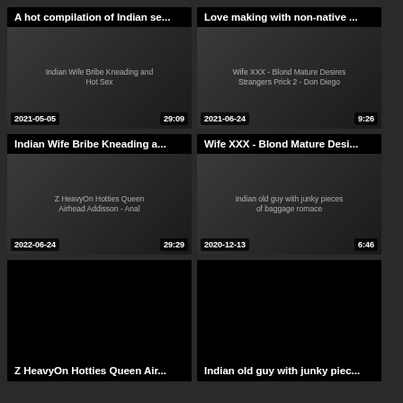[Figure (screenshot): Video thumbnail: A hot compilation of Indian se... | Date: 2021-05-05 | Duration: 29:09 | Subtitle: Indian Wife Bribe Kneading and Hot Sex]
[Figure (screenshot): Video thumbnail: Love making with non-native ... | Date: 2021-06-24 | Duration: 9:26 | Subtitle: Wife XXX - Blond Mature Desires Strangers Prick 2 - Don Diego]
[Figure (screenshot): Video thumbnail: Indian Wife Bribe Kneading a... | Date: 2022-06-24 | Duration: 29:29 | Subtitle: Z HeavyOn Hotties Queen Airhead Addisson - Anal]
[Figure (screenshot): Video thumbnail: Wife XXX - Blond Mature Desi... | Date: 2020-12-13 | Duration: 6:46 | Subtitle: Indian old guy with junky pieces of baggage romace]
Z HeavyOn Hotties Queen Air...
Indian old guy with junky piec...